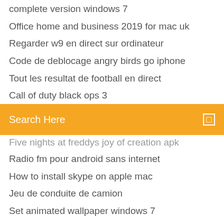complete version windows 7
Office home and business 2019 for mac uk
Regarder w9 en direct sur ordinateur
Code de deblocage angry birds go iphone
Tout les resultat de football en direct
Call of duty black ops 3
Search Here
Five nights at freddys joy of creation apk
Radio fm pour android sans internet
How to install skype on apple mac
Jeu de conduite de camion
Set animated wallpaper windows 7
Télécharger gratuitement microsoft office visio 2007
Télécharger manycam latest version free
Make it rain the love of money télécharger
Modifier la date de création dun fichier
Sublime text 3 télécharger mac
Winrar win 10 64 bit complete crack